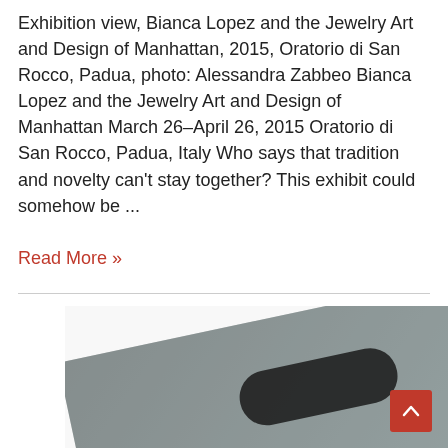Exhibition view, Bianca Lopez and the Jewelry Art and Design of Manhattan, 2015, Oratorio di San Rocco, Padua, photo: Alessandra Zabbeo Bianca Lopez and the Jewelry Art and Design of Manhattan March 26–April 26, 2015 Oratorio di San Rocco, Padua, Italy Who says that tradition and novelty can't stay together? This exhibit could somehow be ...
Read More »
[Figure (photo): Close-up photograph of a dark gray metallic or stone plate with multiple circular and rounded-rectangular holes/cutouts arranged in a grid pattern, with some rust or oxidation visible.]